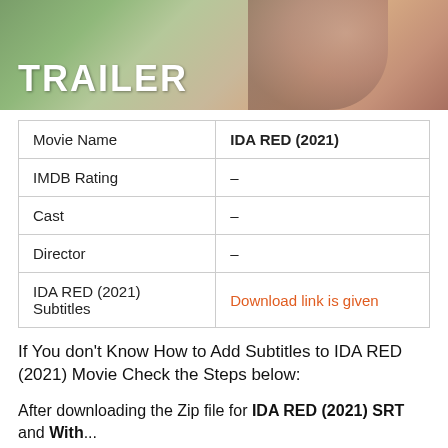[Figure (photo): Movie trailer banner image with a man's face partially visible and the word TRAILER in large white bold text on a nature/green background]
| Movie Name | IDA RED (2021) |
| IMDB Rating | – |
| Cast | – |
| Director | – |
| IDA RED (2021) Subtitles | Download link is given |
If You don't Know How to Add Subtitles to IDA RED (2021) Movie Check the Steps below:
After downloading the Zip file for IDA RED (2021) SRT and With...